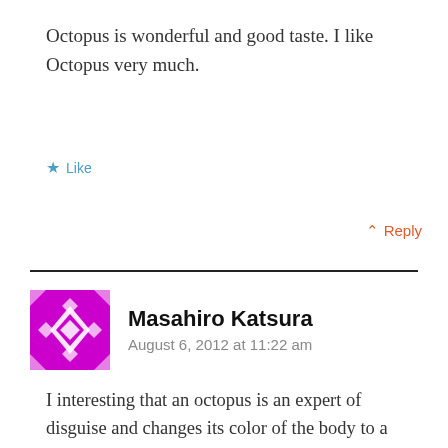Octopus is wonderful and good taste. I like Octopus very much.
★ Like
↑ Reply
Masahiro Katsura
August 6, 2012 at 11:22 am
I interesting that an octopus is an expert of disguise and changes its color of the body to a surrounding scene.
★ Like
↑ Reply